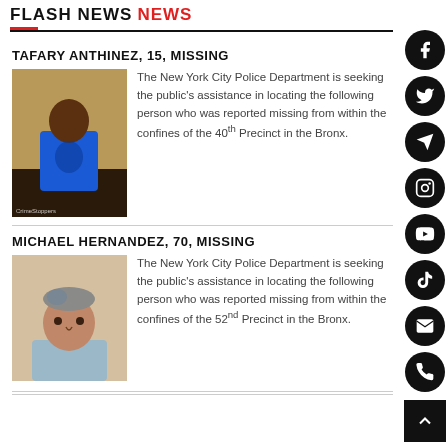FLASH NEWS NEWS
TAFARY ANTHINEZ, 15, MISSING
[Figure (photo): Photo of Tafary Anthinez, a young person wearing a blue t-shirt, standing against a wall.]
The New York City Police Department is seeking the public's assistance in locating the following person who was reported missing from within the confines of the 40th Precinct in the Bronx.
MICHAEL HERNANDEZ, 70, MISSING
[Figure (photo): Photo of Michael Hernandez, an older man with grayish hair, looking at the camera.]
The New York City Police Department is seeking the public's assistance in locating the following person who was reported missing from within the confines of the 52nd Precinct in the Bronx.